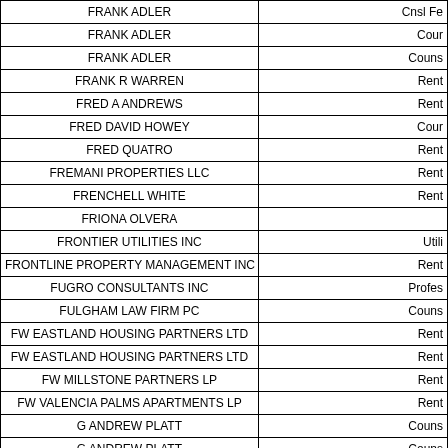| Name | Category |
| --- | --- |
| FRANK ADLER | Cnsl Fe… |
| FRANK ADLER | Cour… |
| FRANK ADLER | Couns… |
| FRANK R WARREN | Rent |
| FRED A ANDREWS | Rent |
| FRED DAVID HOWEY | Cour… |
| FRED QUATRO | Rent |
| FREMANI PROPERTIES LLC | Rent |
| FRENCHELL WHITE | Rent |
| FRIONA OLVERA |  |
| FRONTIER UTILITIES INC | Utili… |
| FRONTLINE PROPERTY MANAGEMENT INC | Rent |
| FUGRO CONSULTANTS INC | Profes… |
| FULGHAM LAW FIRM PC | Couns… |
| FW EASTLAND HOUSING PARTNERS LTD | Rent |
| FW EASTLAND HOUSING PARTNERS LTD | Rent |
| FW MILLSTONE PARTNERS LP | Rent |
| FW VALENCIA PALMS APARTMENTS LP | Rent |
| G ANDREW PLATT | Couns… |
| G ANDREW PLATT | Couns… |
| G2 ALTA MESA LLC | Rent |
| G8 OPPORTUNITY FUND I LLC | Utili… |
| G8 OPPORTUNITY FUND I LLC | Rent |